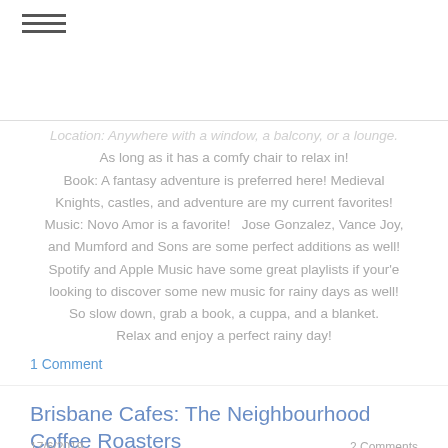≡
Location: Anywhere with a window, a balcony, or a lounge. As long as it has a comfy chair to relax in! Book: A fantasy adventure is preferred here! Medieval Knights, castles, and adventure are my current favorites! Music: Novo Amor is a favorite!   Jose Gonzalez, Vance Joy, and Mumford and Sons are some perfect additions as well! Spotify and Apple Music have some great playlists if your'e looking to discover some new music for rainy days as well! So slow down, grab a book, a cuppa, and a blanket. Relax and enjoy a perfect rainy day!
[Figure (other): Tweet button (social share button with Twitter bird icon)]
1 Comment
Brisbane Cafes: The Neighbourhood Coffee Roasters
17/6/2019
2 Comments